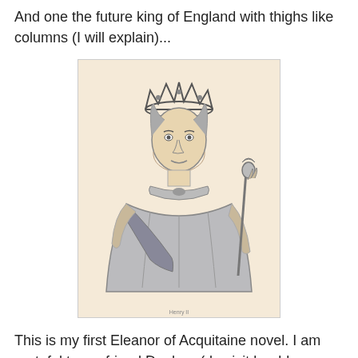And one the future king of England with thighs like columns (I will explain)...
[Figure (illustration): Engraving or sketch of a medieval king wearing a crown, holding a scepter, dressed in robes with a sash, shown from waist up against a light background.]
This is my first Eleanor of Acquitaine novel. I am grateful to my friend Daphne (do visit her blog: http://shelfandstuff.blogspot.com/) for posting a giveaway for this book on her blog and as a result, allowing me a chance to read it. I actually feel bad for not enjoying it as much as she did but here is why I didn't like it:
"Drawn to that lust in his voice, she reached out to him and they joined again, fierce as leopards, scratching and clawing and roaring at the peak, as if they crushed worlds betwen